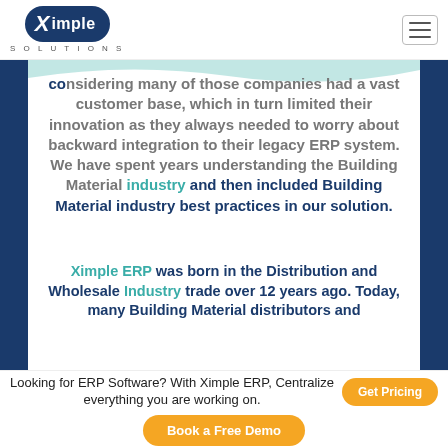Ximple Solutions
...considering many of those companies had a vast customer base, which in turn limited their innovation as they always needed to worry about backward integration to their legacy ERP system. We have spent years understanding the Building Material industry and then included Building Material industry best practices in our solution.
Ximple ERP was born in the Distribution and Wholesale Industry trade over 12 years ago. Today, many Building Material distributors and...
Looking for ERP Software? With Ximple ERP, Centralize everything you are working on. Get Pricing | Book a Free Demo